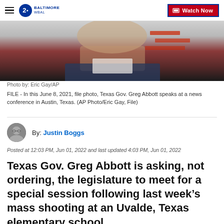WBAL Baltimore | Watch Now
[Figure (photo): Close-up photo of Texas Gov. Greg Abbott at a news conference, with American flag visible in background.]
Photo by: Eric Gay/AP
FILE - In this June 8, 2021, file photo, Texas Gov. Greg Abbott speaks at a news conference in Austin, Texas. (AP Photo/Eric Gay, File)
By: Justin Boggs
Posted at 12:03 PM, Jun 01, 2022 and last updated 4:03 PM, Jun 01, 2022
Texas Gov. Greg Abbott is asking, not ordering, the legislature to meet for a special session following last week’s mass shooting at an Uvalde, Texas elementary school.